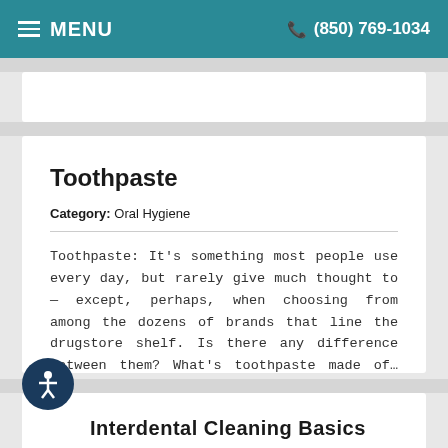MENU  (850) 769-1034
Toothpaste
Category: Oral Hygiene
Toothpaste: It's something most people use every day, but rarely give much thought to — except, perhaps, when choosing from among the dozens of brands that line the drugstore shelf. Is there any difference between them? What's toothpaste made of… and does it really do what it promises on the box?
Read more >